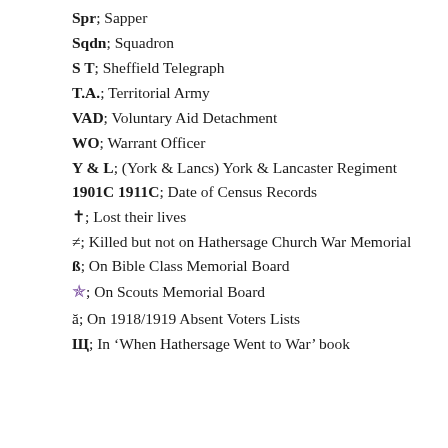Spr; Sapper
Sqdn; Squadron
S T; Sheffield Telegraph
T.A.; Territorial Army
VAD; Voluntary Aid Detachment
WO; Warrant Officer
Y & L; (York & Lancs) York & Lancaster Regiment
1901C 1911C; Date of Census Records
✟; Lost their lives
≠; Killed but not on Hathersage Church War Memorial
ß; On Bible Class Memorial Board
✿; On Scouts Memorial Board
ă; On 1918/1919 Absent Voters Lists
Щ; In 'When Hathersage Went to War' book